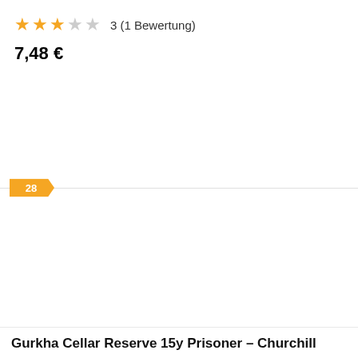3 (1 Bewertung)
7,48 €
28
Gurkha Cellar Reserve 15y Prisoner – Churchill